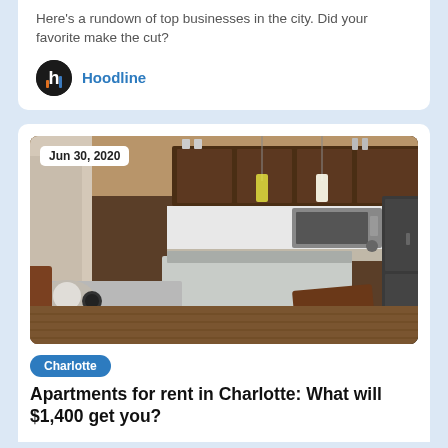Here's a rundown of top businesses in the city. Did your favorite make the cut?
Hoodline
[Figure (photo): Interior photo of a modern apartment kitchen and dining area with dark wood cabinets, stainless steel appliances, pendant lights, granite countertops, and leather chairs around a dining table. Date badge reads Jun 30, 2020.]
Charlotte
Apartments for rent in Charlotte: What will $1,400 get you?